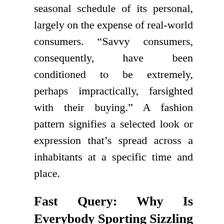seasonal schedule of its personal, largely on the expense of real-world consumers. “Savvy consumers, consequently, have been conditioned to be extremely, perhaps impractically, farsighted with their buying.” A fashion pattern signifies a selected look or expression that’s spread across a inhabitants at a specific time and place.
Fast Query: Why Is Everybody Sporting Sizzling Pink Right Now?
Robert Glariston, an intellectual property professional, talked about in a fashion seminar held in LA[which? For the previous few years, WGSN has been a dominant supply of fashion